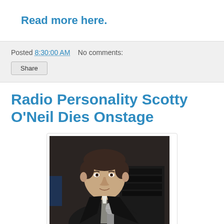Read more here.
Posted 8:30:00 AM   No comments:
Share
Radio Personality Scotty O'Neil Dies Onstage
[Figure (photo): Photo of a middle-aged man in a dark suit holding a microphone, taken indoors with dark background and audio equipment visible.]